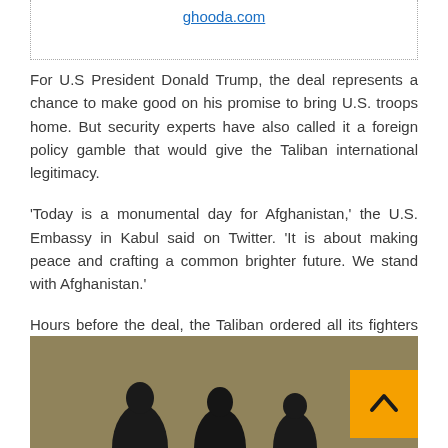ghooda.com
For U.S President Donald Trump, the deal represents a chance to make good on his promise to bring U.S. troops home. But security experts have also called it a foreign policy gamble that would give the Taliban international legitimacy.
‘Today is a monumental day for Afghanistan,’ the U.S. Embassy in Kabul said on Twitter. ‘It is about making peace and crafting a common brighter future. We stand with Afghanistan.’
Hours before the deal, the Taliban ordered all its fighters in Afghanistan ‘to refrain from any kind of attack ... for the happiness of the nation.’
[Figure (photo): Partial photo of people in dark clothing against a tan/khaki background, with an orange back-to-top button in the lower right corner]